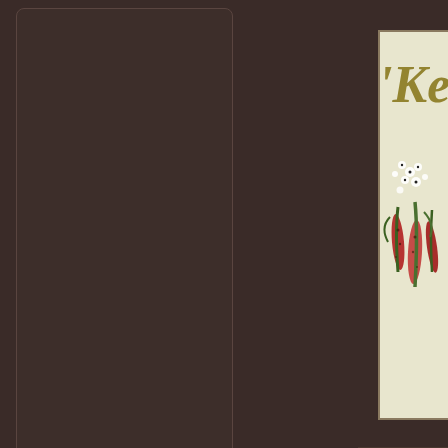[Figure (illustration): Partial view of a decorative logo/illustration with 'Ke' text in gold/olive color, with botanical elements including white flowers and red/green decorative shapes on a cream/beige background]
Contact
Marie Coly
Southern R
Email : wi
COPYRIGHT (C) 202